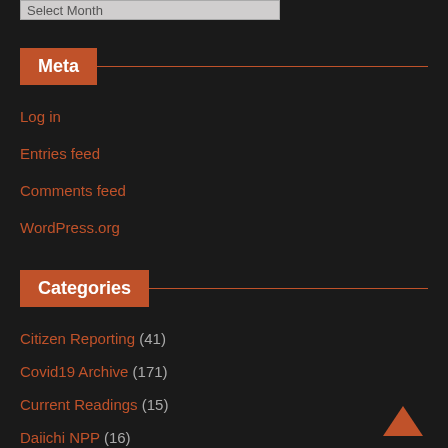Select Month
Meta
Log in
Entries feed
Comments feed
WordPress.org
Categories
Citizen Reporting (41)
Covid19 Archive (171)
Current Readings (15)
Daiichi NPP (16)
Digests (2)
[Figure (illustration): Back to top chevron arrow icon in brown/orange color, bottom right corner]